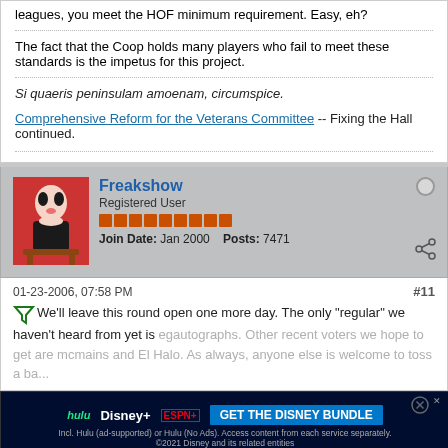leagues, you meet the HOF minimum requirement. Easy, eh?
The fact that the Coop holds many players who fail to meet these standards is the impetus for this project.
Si quaeris peninsulam amoenam, circumspice.
Comprehensive Reform for the Veterans Committee -- Fixing the Hall continued.
Freakshow
Registered User
Join Date: Jan 2000   Posts: 7471
01-23-2006, 07:58 PM
#11
We'll leave this round open one more day. The only "regular" we haven't heard from yet is egautographs. Other recent voters we hope to get are mcmains and El Halo. As always, anyone else is welcome to toss a b...
Last edited by Freakshow; 01-23-2006, 08:08 PM.